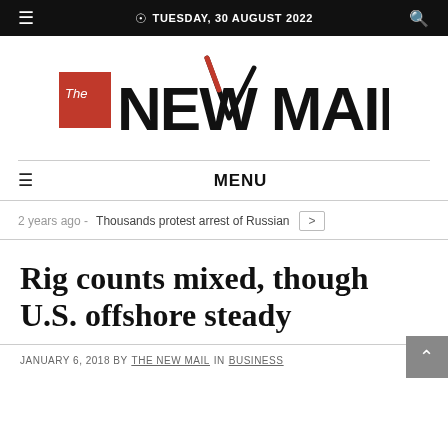TUESDAY, 30 AUGUST 2022
[Figure (logo): The New Mail newspaper logo — red square with 'The' in white, bold black text 'NEW MAIL' with a stylized checkmark through the W]
MENU
2 years ago - Thousands protest arrest of Russian
Rig counts mixed, though U.S. offshore steady
JANUARY 6, 2018 BY THE NEW MAIL IN BUSINESS